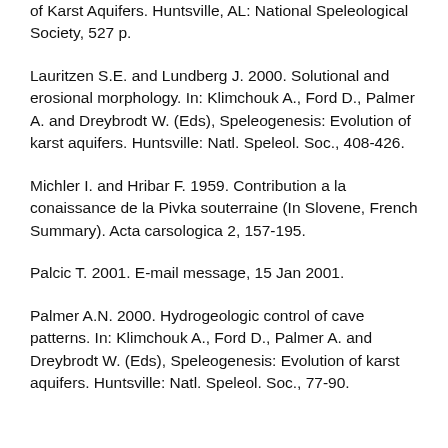of Karst Aquifers. Huntsville, AL: National Speleological Society, 527 p.
Lauritzen S.E. and Lundberg J. 2000. Solutional and erosional morphology. In: Klimchouk A., Ford D., Palmer A. and Dreybrodt W. (Eds), Speleogenesis: Evolution of karst aquifers. Huntsville: Natl. Speleol. Soc., 408-426.
Michler I. and Hribar F. 1959. Contribution a la conaissance de la Pivka souterraine (In Slovene, French Summary). Acta carsologica 2, 157-195.
Palcic T. 2001. E-mail message, 15 Jan 2001.
Palmer A.N. 2000. Hydrogeologic control of cave patterns. In: Klimchouk A., Ford D., Palmer A. and Dreybrodt W. (Eds), Speleogenesis: Evolution of karst aquifers. Huntsville: Natl. Speleol. Soc., 77-90.